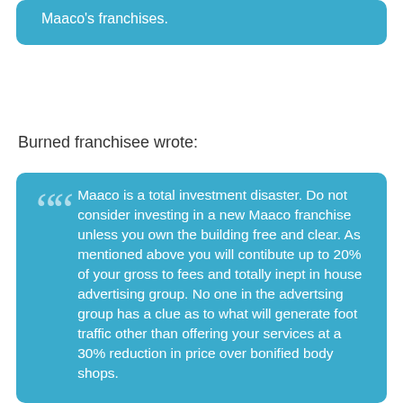Maaco's franchises.
Burned franchisee wrote:
Maaco is a total investment disaster. Do not consider investing in a new Maaco franchise unless you own the building free and clear. As mentioned above you will contibute up to 20% of your gross to fees and totally inept in house advertising group. No one in the advertsing group has a clue as to what will generate foot traffic other than offering your services at a 30% reduction in price over bonified body shops.